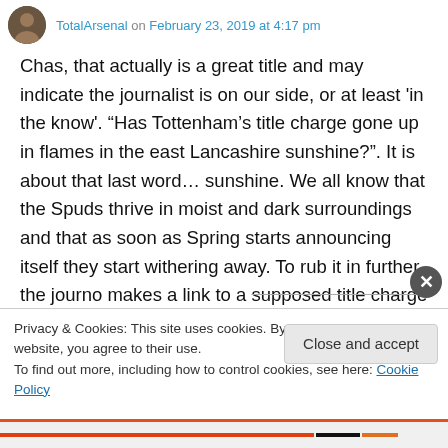TotalArsenal on February 23, 2019 at 4:17 pm
Chas, that actually is a great title and may indicate the journalist is on our side, or at least 'in the know'. “Has Tottenham’s title charge gone up in flames in the east Lancashire sunshine?”. It is about that last word… sunshine. We all know that the Spuds thrive in moist and dark surroundings and that as soon as Spring starts announcing itself they start withering away. To rub it in further, the journo makes a link to a supposed title charge that he/she knows as
Privacy & Cookies: This site uses cookies. By continuing to use this website, you agree to their use.
To find out more, including how to control cookies, see here: Cookie Policy
Close and accept